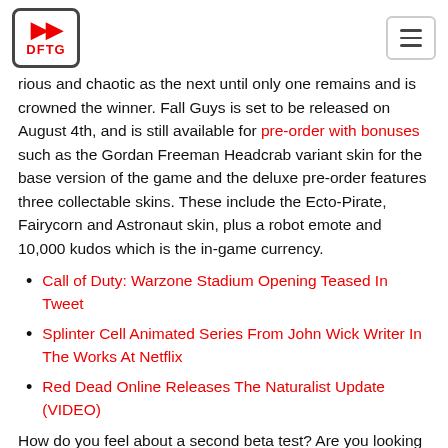DFTG
rious and chaotic as the next until only one remains and is crowned the winner. Fall Guys is set to be released on August 4th, and is still available for pre-order with bonuses such as the Gordan Freeman Headcrab variant skin for the base version of the game and the deluxe pre-order features three collectable skins. These include the Ecto-Pirate, Fairycorn and Astronaut skin, plus a robot emote and 10,000 kudos which is the in-game currency.
Call of Duty: Warzone Stadium Opening Teased In Tweet
Splinter Cell Animated Series From John Wick Writer In The Works At Netflix
Red Dead Online Releases The Naturalist Update (VIDEO)
How do you feel about a second beta test? Are you looking forward to the full release of the game? Sound off in the comments below! As always don't forget to follow Don't Feed The Gamers on twitter for up to date gaming news!